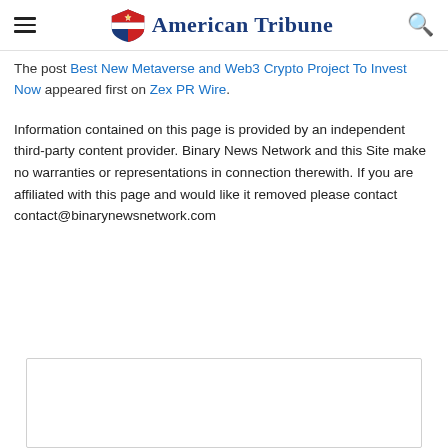American Tribune
The post Best New Metaverse and Web3 Crypto Project To Invest Now appeared first on Zex PR Wire.
Information contained on this page is provided by an independent third-party content provider. Binary News Network and this Site make no warranties or representations in connection therewith. If you are affiliated with this page and would like it removed please contact contact@binarynewsnetwork.com
[Figure (other): Empty bordered rectangle placeholder at the bottom of the page]